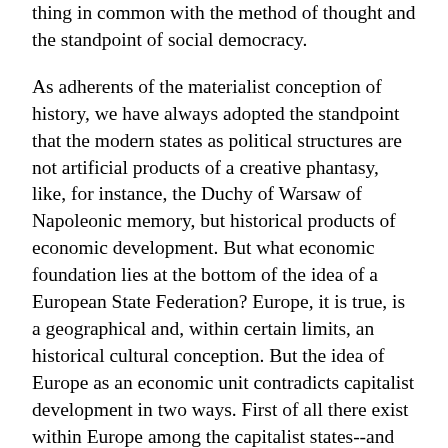thing in common with the method of thought and the standpoint of social democracy.
As adherents of the materialist conception of history, we have always adopted the standpoint that the modern states as political structures are not artificial products of a creative phantasy, like, for instance, the Duchy of Warsaw of Napoleonic memory, but historical products of economic development. But what economic foundation lies at the bottom of the idea of a European State Federation? Europe, it is true, is a geographical and, within certain limits, an historical cultural conception. But the idea of Europe as an economic unit contradicts capitalist development in two ways. First of all there exist within Europe among the capitalist states--and will so long as these exist--the most violent struggles of competition and antagonisms, and secondly the European States can no longer get along economically without the non-European countries. As suppliers of foodstuffs, raw materials and wares, also as